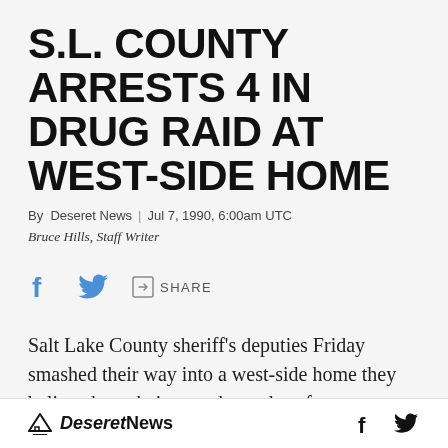S.L. COUNTY ARRESTS 4 IN DRUG RAID AT WEST-SIDE HOME
By Deseret News | Jul 7, 1990, 6:00am UTC
Bruce Hills, Staff Writer
[Figure (other): Social sharing icons: Facebook, Twitter, and share button with SHARE label]
Salt Lake County sheriff's deputies Friday smashed their way into a west-side home they believed was being used as a drug factory, seized two men and two women and took two children
Deseret News  f  (twitter bird icon)